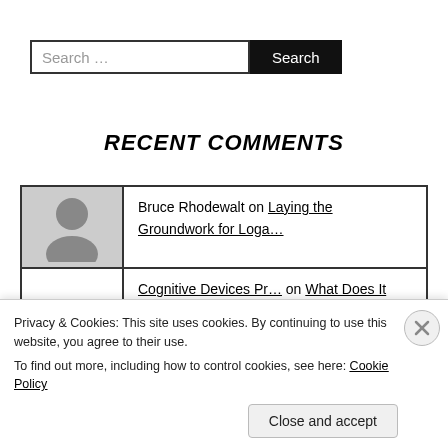Search …
RECENT COMMENTS
Bruce Rhodewalt on Laying the Groundwork for Loga…
Cognitive Devices Pr… on What Does It Mean to Study Tea…
Michele on Let Them Laugh: Using Humor in…
Privacy & Cookies: This site uses cookies. By continuing to use this website, you agree to their use. To find out more, including how to control cookies, see here: Cookie Policy
Close and accept